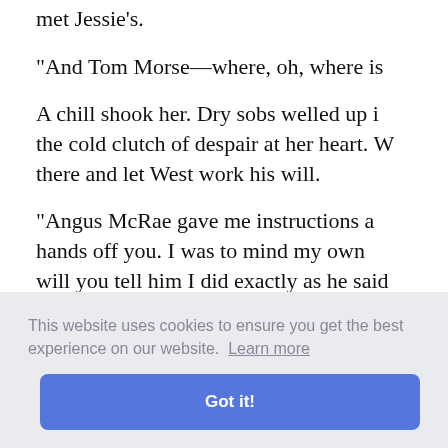met Jessie's.
"And Tom Morse—where, oh, where is
A chill shook her. Dry sobs welled up i the cold clutch of despair at her heart. W there and let West work his will.
"Angus McRae gave me instructions a hands off you. I was to mind my own will you tell him I did exactly as he said
She did not answer. What was there to
ss the re ning stran
storm. W your che
This website uses cookies to ensure you get the best experience on our website. Learn more
Got it!